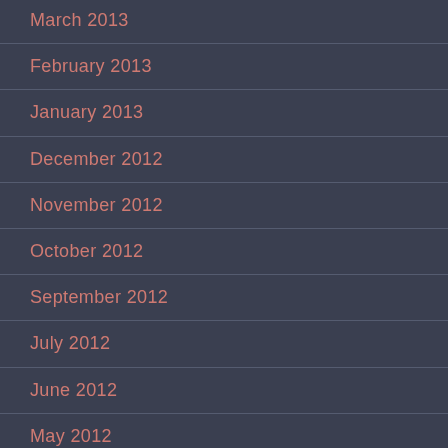March 2013
February 2013
January 2013
December 2012
November 2012
October 2012
September 2012
July 2012
June 2012
May 2012